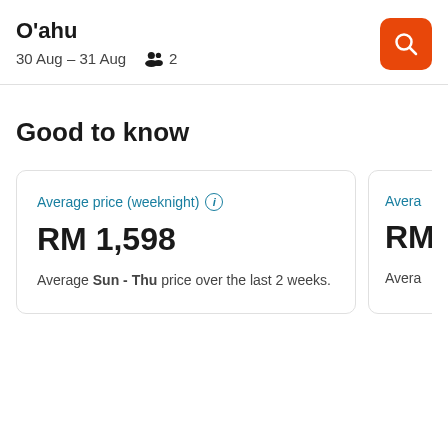O'ahu
30 Aug – 31 Aug  2
Good to know
| Average price (weeknight) | Average price (weekend) |
| --- | --- |
| RM 1,598 | RM ... |
| Average Sun - Thu price over the last 2 weeks. | Avera... |